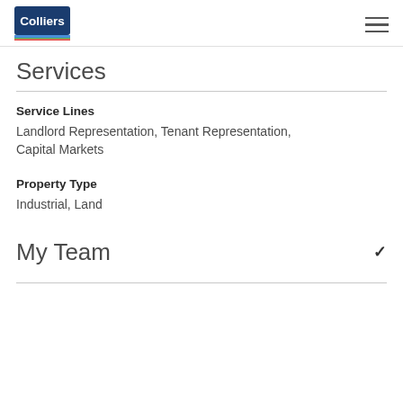Colliers
Services
Service Lines
Landlord Representation, Tenant Representation, Capital Markets
Property Type
Industrial, Land
My Team